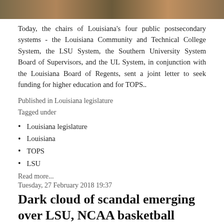[Figure (photo): Top banner image showing an aerial or crowd scene, partially visible]
Today, the chairs of Louisiana's four public postsecondary systems - the Louisiana Community and Technical College System, the LSU System, the Southern University System Board of Supervisors, and the UL System, in conjunction with the Louisiana Board of Regents, sent a joint letter to seek funding for higher education and for TOPS..
Published in Louisiana legislature
Tagged under
Louisiana legislature
Louisiana
TOPS
LSU
Read more...
Tuesday, 27 February 2018 19:37
Dark cloud of scandal emerging over LSU, NCAA basketball teams
[Figure (photo): Bottom image, dark/black scene partially visible]